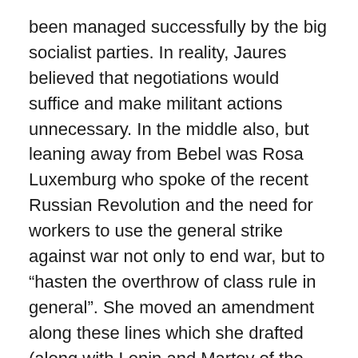been managed successfully by the big socialist parties. In reality, Jaures believed that negotiations would suffice and make militant actions unnecessary. In the middle also, but leaning away from Bebel was Rosa Luxemburg who spoke of the recent Russian Revolution and the need for workers to use the general strike against war not only to end war, but to “hasten the overthrow of class rule in general”. She moved an amendment along these lines which she drafted (along with Lenin and Martov of the Russian Social Democrats) which was incorporated into the final draft.
The Resolution was a compromise. On the one hand ‘militarism’ was bad policy, on the other, militarism was vital to the survival of capitalism. These were clearly two very different views of imperialist militarism! But Lenin regarded the result as good. The left got in its view of militarism as an outcome of capitalism, to rejection and for